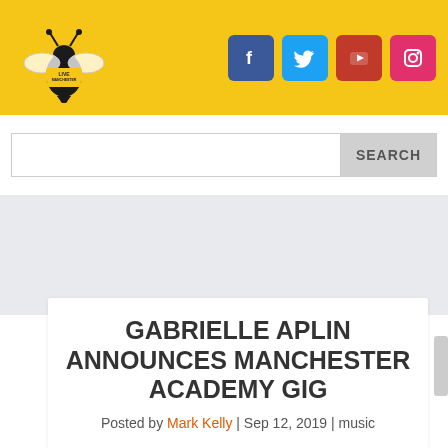[Figure (logo): Live Manchester bee logo on yellow background with social media icons (Facebook, Twitter, YouTube, Instagram)]
[Figure (screenshot): Search bar with SEARCH button]
[Figure (other): Gray advertisement/banner area]
GABRIELLE APLIN ANNOUNCES MANCHESTER ACADEMY GIG
Posted by Mark Kelly | Sep 12, 2019 | music